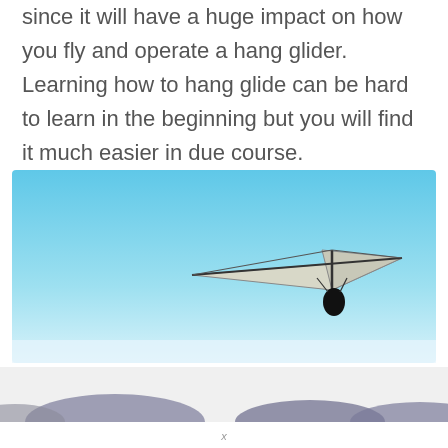educate you about the incredibly entertaining sport since it will have a huge impact on how you fly and operate a hang glider. Learning how to hang glide can be hard to learn in the beginning but you will find it much easier in due course.
[Figure (photo): A hang glider with a pilot flying against a clear light blue sky, viewed from below and at a slight distance. The glider has a triangular white wing shape with dark frame structure visible.]
[Figure (photo): Bottom strip showing partial view of what appears to be hot air balloons or similar objects partially visible at the bottom of the page, dark oval shapes against a white/grey background.]